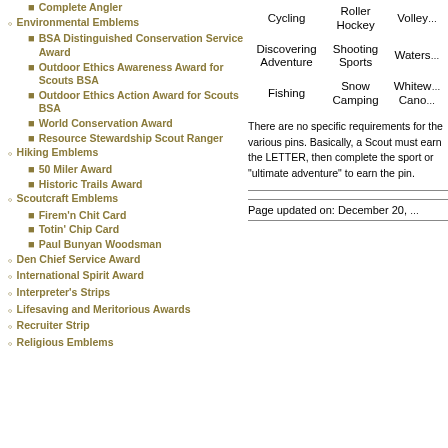Complete Angler
Environmental Emblems
BSA Distinguished Conservation Service Award
Outdoor Ethics Awareness Award for Scouts BSA
Outdoor Ethics Action Award for Scouts BSA
World Conservation Award
Resource Stewardship Scout Ranger
Hiking Emblems
50 Miler Award
Historic Trails Award
Scoutcraft Emblems
Firem'n Chit Card
Totin' Chip Card
Paul Bunyan Woodsman
Den Chief Service Award
International Spirit Award
Interpreter's Strips
Lifesaving and Meritorious Awards
Recruiter Strip
Religious Emblems
| Cycling | Roller Hockey | Volley... |
| Discovering Adventure | Shooting Sports | Waters... |
| Fishing | Snow Camping | Whitew... Cano... |
There are no specific requirements for the various pins. Basically, a Scout must earn the LETTER, then complete the sport or "ultimate adventure" to earn the pin.
Page updated on: December 20, ...